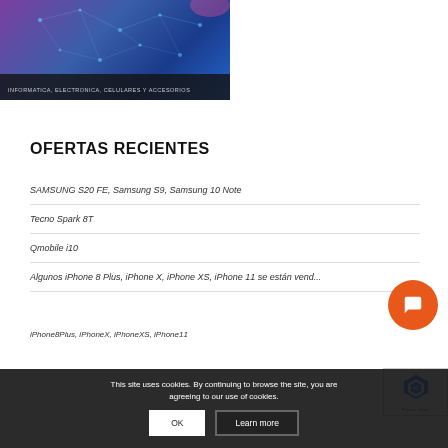[Figure (photo): Banner image with blue/purple network connectivity design, dark overlay at bottom with text INFORMATICA, ELECTRONICA, CELULARES Y ACCESORIOS]
INFORMATICA, ELECTRONICA, CELULARES Y ACCESORIOS
OFERTAS RECIENTES
SAMSUNG S20 FE, Samsung S9, Samsung 10 Note
Tecno Spark 8T
Qmobile i10
Algunos iPhone 8 Plus, iPhone X, iPhone XS, iPhone 11 se están vend...
iPhone8Plus, iPhoneX, iPhoneXS, iPhone11
This site uses cookies. By continuing to browse the site, you are agreeing to our use of cookies.
OK   Learn more
POR FAVOR SUSCRIBASE PARA RECIBIR